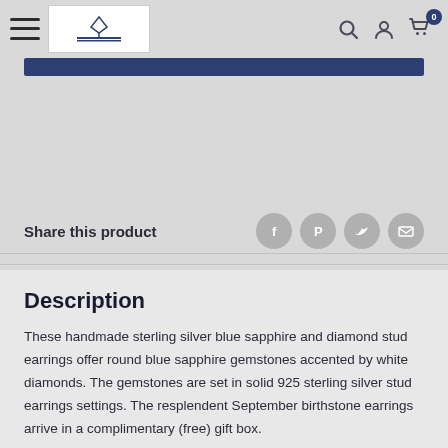Navigation header with hamburger menu, logo, search, account, and cart icons
[Figure (screenshot): Dark navy blue horizontal bar]
Share this product
[Figure (infographic): Social share icons: Facebook, Pinterest, Twitter, Email]
Description
These handmade sterling silver blue sapphire and diamond stud earrings offer round blue sapphire gemstones accented by white diamonds. The gemstones are set in solid 925 sterling silver stud earrings settings. The resplendent September birthstone earrings arrive in a complimentary (free) gift box.